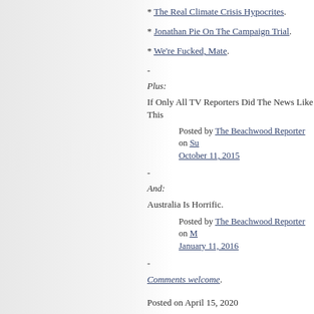* The Real Climate Crisis Hypocrites.
* Jonathan Pie On The Campaign Trial.
* We're Fucked, Mate.
-
Plus:
If Only All TV Reporters Did The News Like This
Posted by The Beachwood Reporter on Su October 11, 2015
-
And:
Australia Is Horrific.
Posted by The Beachwood Reporter on M January 11, 2016
-
Comments welcome.
Posted on April 15, 2020